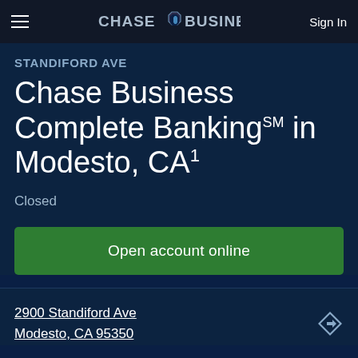CHASE FOR BUSINESS — Sign In
STANDIFORD AVE
Chase Business Complete Banking℠ in Modesto, CA¹
Closed
Open account online
2900 Standiford Ave
Modesto, CA 95350
(209) 527-8276